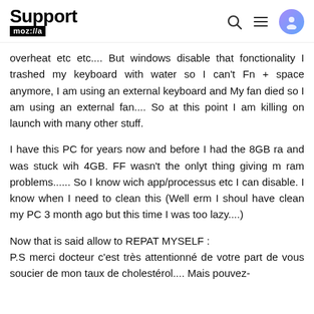Support moz://a
overheat etc etc.... But windows disable that fonctionality I trashed my keyboard with water so I can't Fn + space anymore, I am using an external keyboard and My fan died so I am using an external fan.... So at this point I am killing on launch with many other stuff.
I have this PC for years now and before I had the 8GB ram and was stuck wih 4GB. FF wasn't the onlyt thing giving me ram problems...... So I know wich app/processus etc I can disable. I know when I need to clean this (Well erm I should have clean my PC 3 month ago but this time I was too lazy....)
Now that is said allow to REPAT MYSELF : P.S merci docteur c'est très attentionné de votre part de vous soucier de mon taux de cholestérol.... Mais pouvez-